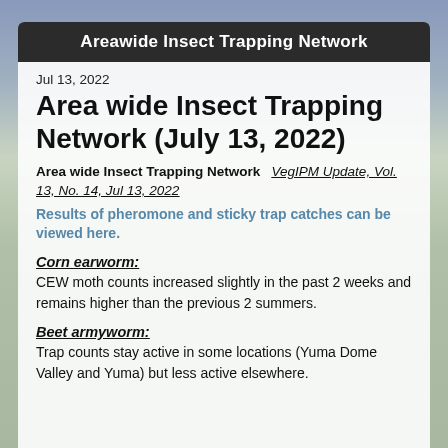Areawide Insect Trapping Network
Jul 13, 2022
Area wide Insect Trapping Network (July 13, 2022)
Area wide Insect Trapping Network   VegIPM Update, Vol. 13, No. 14, Jul 13, 2022
Results of pheromone and sticky trap catches can be viewed here.
Corn earworm:
CEW moth counts increased slightly in the past 2 weeks and remains higher than the previous 2 summers.
Beet armyworm:
Trap counts stay active in some locations (Yuma Dome Valley and Yuma) but less active elsewhere.